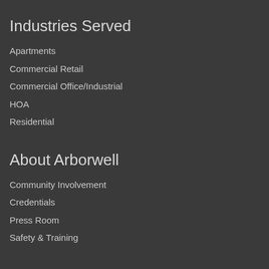Industries Served
Apartments
Commercial Retail
Commercial Office/Industrial
HOA
Residential
About Arborwell
Community Involvement
Credentials
Press Room
Safety & Training